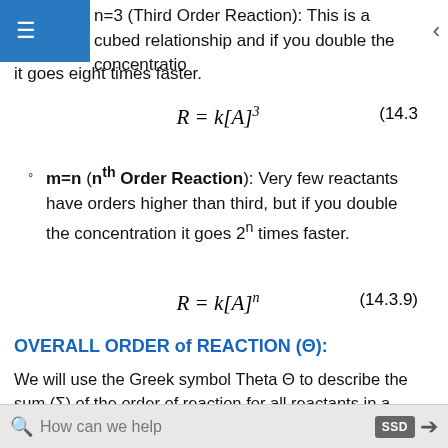n=3 (Third Order Reaction): This is a cubed relationship and if you double the concentration it goes eight times faster.
m=n (nth Order Reaction): Very few reactants have orders higher than third, but if you double the concentration it goes 2^n times faster.
OVERALL ORDER of REACTION (Θ):
We will use the Greek symbol Theta Θ to describe the sum (Σ) of the order of reaction for all reactants in a chemical reaction
Θ = m+n for two reactants where (R = k[A]^m[B]^n)
How can we help